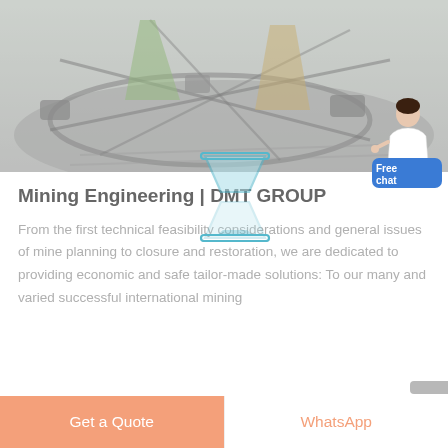[Figure (photo): Aerial view of a mining/construction site with cranes, machinery, and track-mounted equipment viewed from above. Image is muted/desaturated gray-green tones.]
[Figure (illustration): Hourglass icon outline in light blue/cyan, overlapping the header title area.]
Mining Engineering | DMT GROUP
From the first technical feasibility considerations and general issues of mine planning to closure and restoration, we are dedicated to providing economic and safe tailor-made solutions: To our many and varied successful international mining
[Figure (illustration): Person (woman in white coat) illustration above blue 'Free chat' rounded button at top right corner of page.]